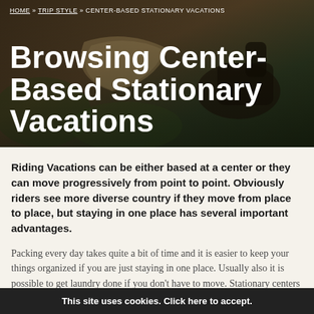[Figure (photo): Dark-toned hero image showing a horse and rider with a map or cloth, with dark brown/olive background tones]
HOME » TRIP STYLE » CENTER-BASED STATIONARY VACATIONS
Browsing Center-Based Stationary Vacations
Riding Vacations can be either based at a center or they can move progressively from point to point. Obviously riders see more diverse country if they move from place to place, but staying in one place has several important advantages.
Packing every day takes quite a bit of time and it is easier to keep your things organized if you are just staying in one place. Usually also it is possible to get laundry done if you don't have to move. Stationary centers can accommodate riding groups of mixed skills more easily because it isn't necessary to cover a long distance moving at a good pace to
This site uses cookies. Click here to accept.